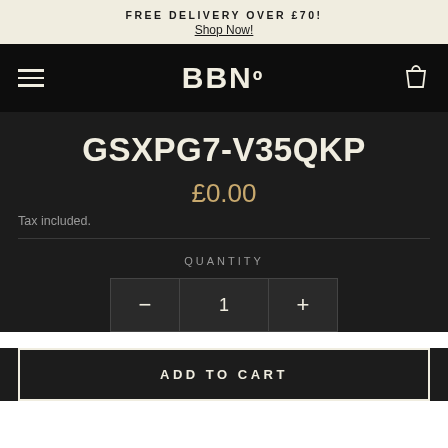FREE DELIVERY OVER £70! Shop Now!
[Figure (logo): BBNo brand logo in cream/off-white text on black background with hamburger menu icon on left and shopping bag icon on right]
GSXPG7-V35QKP
£0.00
Tax included.
QUANTITY
1
ADD TO CART